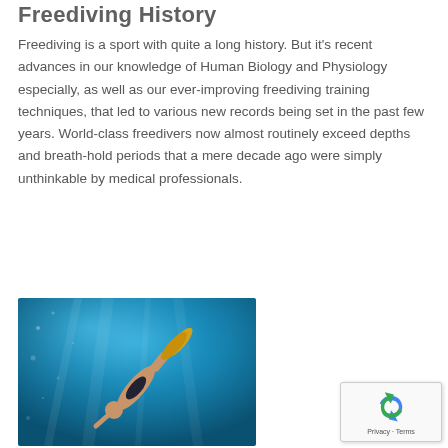Freediving History
Freediving is a sport with quite a long history. But it's recent advances in our knowledge of Human Biology and Physiology especially, as well as our ever-improving freediving training techniques, that led to various new records being set in the past few years. World-class freedivers now almost routinely exceed depths and breath-hold periods that a mere decade ago were simply unthinkable by medical professionals.
[Figure (photo): A freediver descending underwater, wearing fins and a swimsuit, photographed from above against a bright blue water background.]